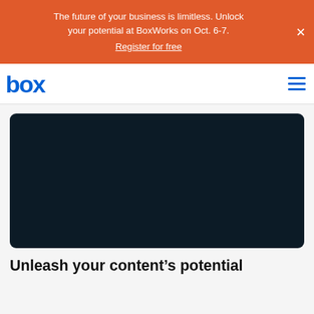The future of your business is limitless. Unlock your potential at BoxWorks on Oct. 6-7. Register for free
[Figure (logo): Box logo — the word 'box' in bold blue rounded sans-serif font]
[Figure (screenshot): Dark navy/black hero image area — appears to be a video or decorative banner with very dark background]
Unleash your content's potential